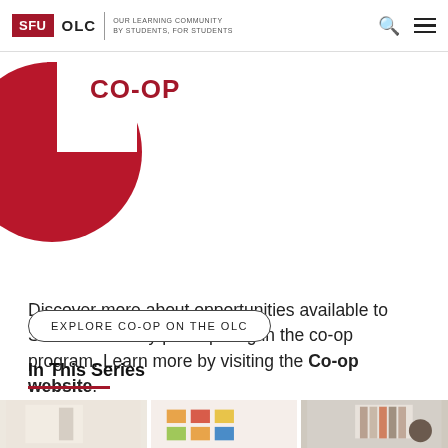SFU OLC | OUR LEARNING COMMUNITY BY STUDENTS, FOR STUDENTS
[Figure (logo): Red circle with CO-OP label in red bold text]
Discover more about opportunities available to SFU students by participating in the co-op program. Learn more by visiting the Co-op website.
EXPLORE CO-OP ON THE OLC
In This Series
[Figure (photo): Three thumbnail photos at the bottom of the page showing student/workspace scenes]